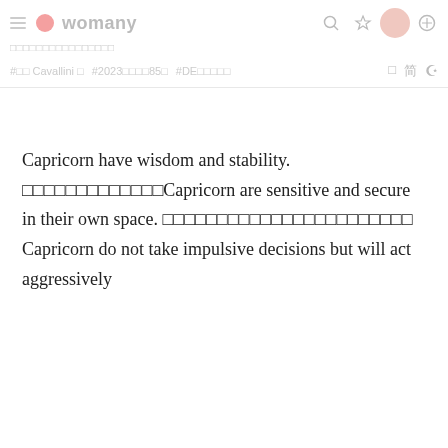womany | □□□□□□□□□□□□□□□□
#□□ Cavallini □   #2023□□□□85□   #DE□□□□□
Capricorn have wisdom and stability. □□□□□□□□□□□□□Capricorn are sensitive and secure in their own space. □□□□□□□□□□□□□□□□□□□□□□□ Capricorn do not take impulsive decisions but will act aggressively